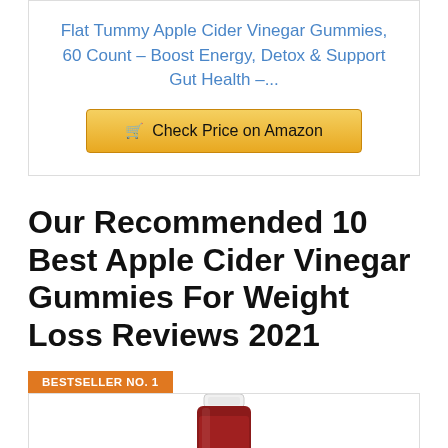Flat Tummy Apple Cider Vinegar Gummies, 60 Count – Boost Energy, Detox & Support Gut Health –...
[Figure (other): Golden 'Check Price on Amazon' button with shopping cart icon]
Our Recommended 10 Best Apple Cider Vinegar Gummies For Weight Loss Reviews 2021
BESTSELLER NO. 1
[Figure (photo): Red supplement bottle with white cap, partially visible at bottom of page]